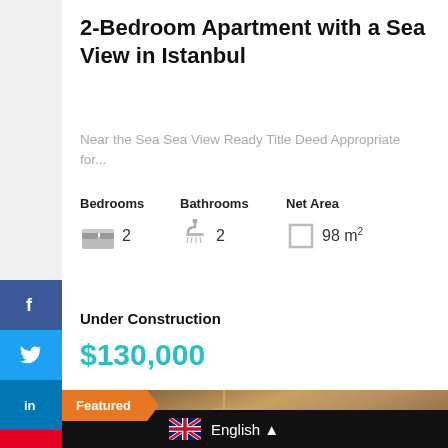2-Bedroom Apartment with a Sea View in Istanbul
Near the Sea Sea View Ready Title Deed Appropriate for...
Bedrooms  Bathrooms  Net Area
2          2          98 m²
Under Construction
$130,000
Featured
[Figure (photo): Interior room photo showing chandelier and wooden paneling]
English